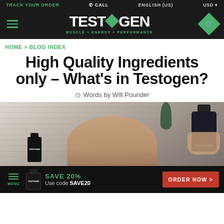TRACK YOUR ORDER | CALL | ENGLISH (US) | USD
[Figure (logo): Testogen logo with diamond shape replacing O, tagline MUSCLE + ENERGY + PERFORMANCE]
HOME > BLOG INDEX
High Quality Ingredients only – What's in Testogen?
Words by Will Pounder
[Figure (photo): Man holding up a dark bottle of Testogen supplement, with a smaller Testogen bottle visible at lower left]
SAVE 20% Use code SAVE20 ORDER NOW >